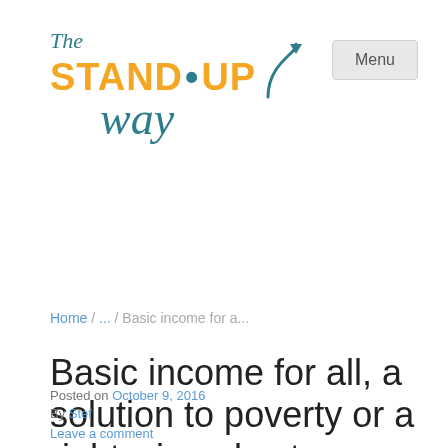[Figure (logo): The Stand-Up Way logo with teal and orange colors and a cursive 'way' with arrow]
Menu
Home / ... / Basic income for a...
Basic income for all, a solution to poverty or a right wing ploy to destroy the welfare state?
Posted on October 9, 2016
By Stef
Leave a comment